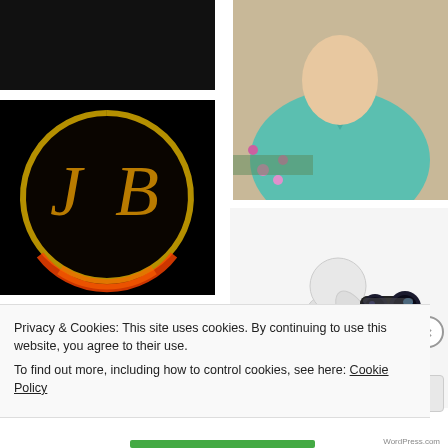[Figure (photo): Black rectangle, partial image at top left]
[Figure (photo): Person in teal/turquoise shirt standing in garden with flowers, top right]
[Figure (logo): JB logo in golden italic script on dark circle with orange/red glow on black background]
[Figure (illustration): 3D white figurine character looking through large black binoculars, right side]
[Figure (other): Blue bar/button element]
Privacy & Cookies: This site uses cookies. By continuing to use this website, you agree to their use.
To find out more, including how to control cookies, see here: Cookie Policy
[Figure (other): Close and accept button]
[Figure (other): Green progress/navigation bar at bottom]